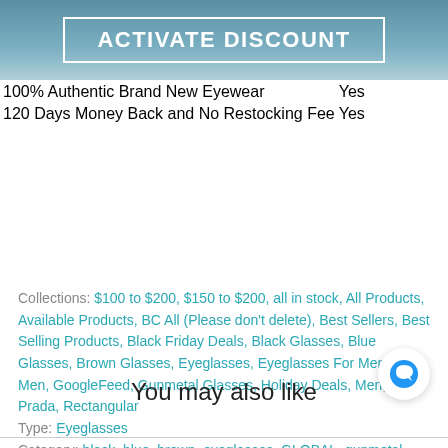[Figure (photo): Banner image of eyeglasses with 'ACTIVATE DISCOUNT' button overlay on a blue background]
| 100% Authentic Brand New Eyewear | Yes |
| 120 Days Money Back and No Restocking Fee | Yes |
Collections: $100 to $200, $150 to $200, all in stock, All Products, Available Products, BC All (Please don't delete), Best Sellers, Best Selling Products, Black Friday Deals, Black Glasses, Blue Glasses, Brown Glasses, Eyeglasses, Eyeglasses For Men, For Men, GoogleFeed, Gunmetal Glasses, Holiday Deals, Men, Prada, Rectangular
Type: Eyeglasses
Category: black, blue, brown, eyeglasses, GLOBAL, gunmetal, Luxottica, Man, Prada, Rectangular, Rx-Able
You may also like